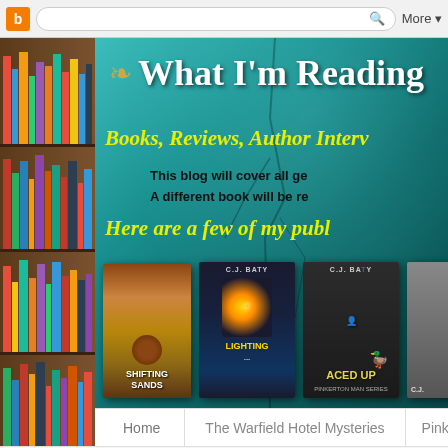[Figure (screenshot): Browser chrome bar with Blogger icon, search bar, and More button]
[Figure (photo): Bookshelf sidebar with colorful book spines on wooden shelves]
[Figure (screenshot): Blog banner with teal stone texture background. Title: What I'm Readin... Yellow italic text: Books, Reviews, Author Inter... Black bold text: This blog will cover all ge... A different book will be re... Yellow italic: Here are a few of my publ... Four book covers at bottom: Shifting Sands, C.J. Baty Lighting..., C.J. Baty Aced Up, and a fourth book]
Home | The Warfield Hotel Mysteries | Pinkerton Ma...
2022 News
Connect with me at
Monday, January 18, 2016